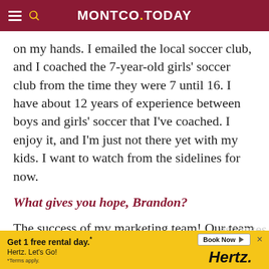MONTCO.TODAY
on my hands. I emailed the local soccer club, and I coached the 7-year-old girls' soccer club from the time they were 7 until 16. I have about 12 years of experience between boys and girls' soccer that I've coached. I enjoy it, and I'm just not there yet with my kids. I want to watch from the sidelines for now.
What gives you hope, Brandon?
The success of my marketing team! Our team works extremely hard every day, day [in their responses] [that they]